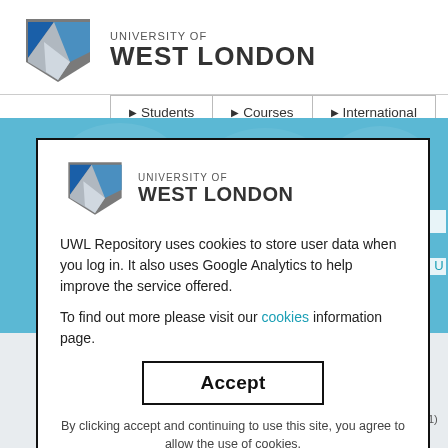[Figure (logo): University of West London logo with blue/grey shield emblem and text 'UNIVERSITY OF WEST LONDON']
▶ Students | ▶ Courses | ▶ International
[Figure (screenshot): Blue banner background of UWL website]
[Figure (logo): University of West London logo inside modal dialog]
UWL Repository uses cookies to store user data when you log in. It also uses Google Analytics to help improve the service offered.
To find out more please visit our cookies information page.
Accept
By clicking accept and continuing to use this site, you agree to allow the use of cookies.